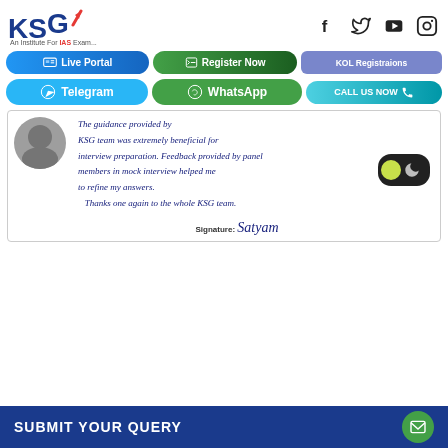[Figure (logo): KSG India logo with red arrow and text 'An Institute For IAS Exam...']
[Figure (infographic): Social media icons: Facebook, Twitter, YouTube, Instagram]
[Figure (infographic): Navigation buttons: Live Portal, Register Now, KOL Registrations]
[Figure (infographic): Social contact buttons: Telegram, WhatsApp, CALL US NOW]
KSG team was extremely beneficial for interview preparation. Feedback provided by panel members in mock interview helped me to refine my answers. Thanks one again to the whole KSG team.
[Figure (illustration): Handwritten signature reading 'Satyam']
SUBMIT YOUR QUERY